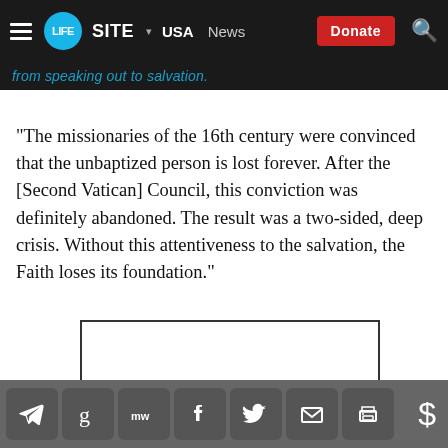LIFESITE ▾ USA  News  Donate
"The missionaries of the 16th century were convinced that the unbaptized person is lost forever. After the [Second Vatican] Council, this conviction was definitely abandoned. The result was a two-sided, deep crisis. Without this attentiveness to the salvation, the Faith loses its foundation."
[Figure (other): Advertisement placeholder box (empty white rectangle with black border)]
Social sharing icons: Telegram, Goodreads, MeWe, Facebook, Twitter, Email, Print, Donate ($)